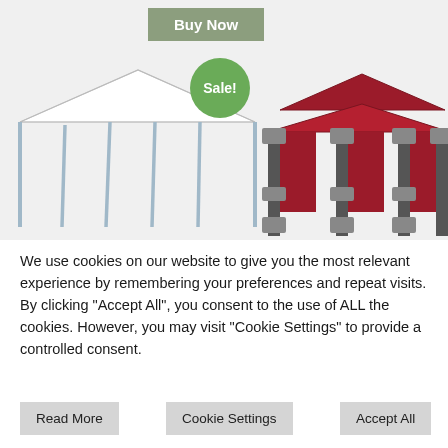[Figure (illustration): Buy Now button (olive/sage green background, white text) at top of page]
[Figure (illustration): Two gazebo product images side by side: left is a white/gray open canopy frame with 8 legs; right is a dark red/burgundy double-tier gazebo with curtained sides and decorative metal posts. A green 'Sale!' badge overlaps the center top area.]
We use cookies on our website to give you the most relevant experience by remembering your preferences and repeat visits. By clicking "Accept All", you consent to the use of ALL the cookies. However, you may visit "Cookie Settings" to provide a controlled consent.
Read More
Cookie Settings
Accept All